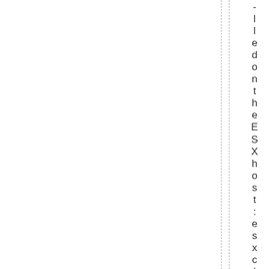lled on the ESX host: esxc1 isoftwar